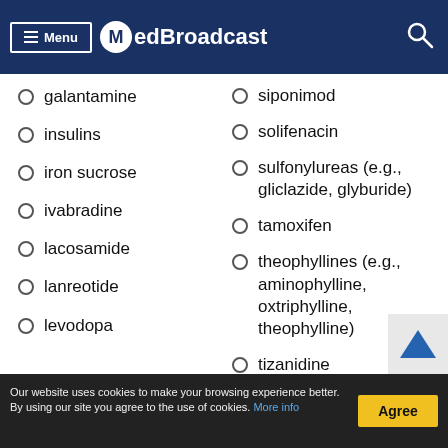Menu | MedBroadcast
galantamine
insulins
iron sucrose
ivabradine
lacosamide
lanreotide
levodopa
siponimod
solifenacin
sulfonylureas (e.g., gliclazide, glyburide)
tamoxifen
theophyllines (e.g., aminophylline, oxtriphylline, theophylline)
tizanidine
tofacitinib
Our website uses cookies to make your browsing experience better. By using our site you agree to the use of cookies. More info